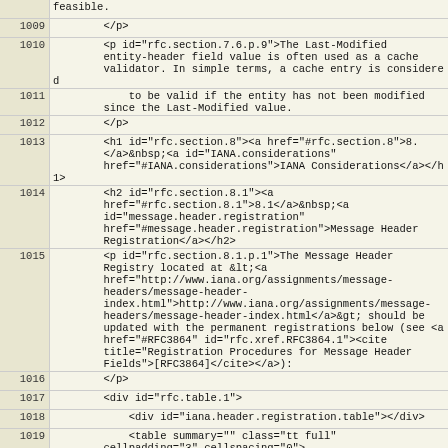| Line | Code |
| --- | --- |
|  | feasible. |
| 1009 |         </p> |
| 1010 |         <p id="rfc.section.7.6.p.9">The Last-Modified
        entity-header field value is often used as a cache
        validator. In simple terms, a cache entry is considered |
| 1011 |             to be valid if the entity has not been modified
        since the Last-Modified value. |
| 1012 |         </p> |
| 1013 |         <h1 id="rfc.section.8"><a href="#rfc.section.8">8.
        </a>&nbsp;<a id="IANA.considerations"
        href="#IANA.considerations">IANA Considerations</a></h1> |
| 1014 |         <h2 id="rfc.section.8.1"><a
        href="#rfc.section.8.1">8.1</a>&nbsp;<a
        id="message.header.registration"
        href="#message.header.registration">Message Header
        Registration</a></h2> |
| 1015 |         <p id="rfc.section.8.1.p.1">The Message Header
        Registry located at &lt;<a
        href="http://www.iana.org/assignments/message-
        headers/message-header-
        index.html">http://www.iana.org/assignments/message-
        headers/message-header-index.html</a>&gt; should be
        updated with the permanent registrations below (see <a
        href="#RFC3864" id="rfc.xref.RFC3864.1"><cite
        title="Registration Procedures for Message Header
        Fields">[RFC3864]</cite></a>): |
| 1016 |         </p> |
| 1017 |         <div id="rfc.table.1"> |
| 1018 |             <div id="iana.header.registration.table"></div> |
| 1019 |             <table summary="" class="tt full"
        cellpadding="3" cellspacing="0"> |
| 1020 |                 <thead> |
| 1021 |                     <tr> |
| 1022 |                         <th>Header Field Name</th> |
| 1023 |                         <th>Protocol</th> |